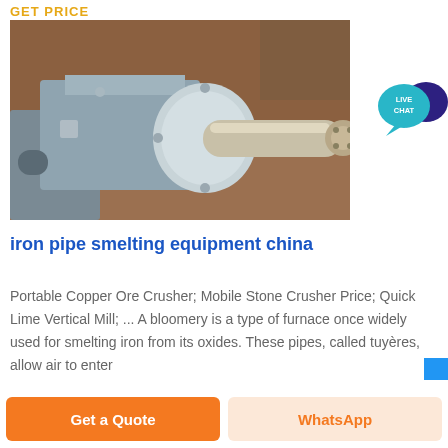GET PRICE
[Figure (photo): Industrial iron pipe smelting equipment — a large cylindrical metal shaft/roller mounted on a grey machine base, photographed in a workshop setting.]
[Figure (infographic): Live Chat button — teal speech bubble with 'LIVE CHAT' text and a dark blue chat icon.]
iron pipe smelting equipment china
Portable Copper Ore Crusher; Mobile Stone Crusher Price; Quick Lime Vertical Mill; ... A bloomery is a type of furnace once widely used for smelting iron from its oxides. These pipes, called tuyères, allow air to enter
Get a Quote
WhatsApp